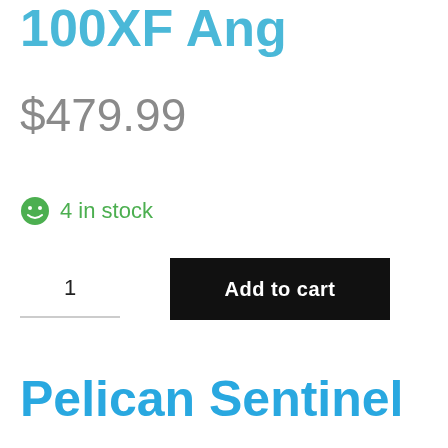100XF Ang
$479.99
4 in stock
1
Add to cart
Pelican Sentinel